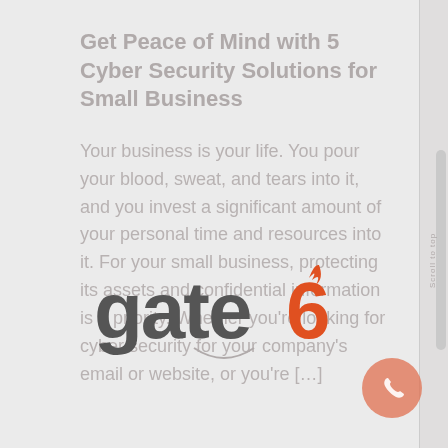Get Peace of Mind with 5 Cyber Security Solutions for Small Business
Your business is your life. You pour your blood, sweat, and tears into it, and you invest a significant amount of your personal time and resources into it. For your small business, protecting its assets and confidential information is a priority. Whether you're looking for cyber security for your company's email or website, or you're […]
[Figure (logo): Gate6 logo with stylized text 'gate' in dark gray and a flame-styled '6' in orange-red]
[Figure (other): Phone icon in a coral/orange circle at bottom right, with 'Scroll to top' text on vertical scrollbar]